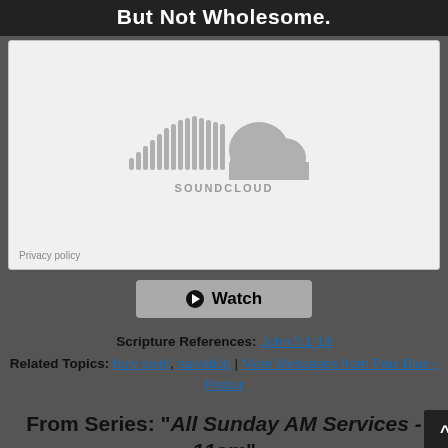But Not Wholesome
[Figure (screenshot): SoundCloud embedded audio player placeholder showing SoundCloud logo and 'Privacy policy' link at the bottom left]
Privacy policy
Watch
Scripture References: John 5:1-18
Related Topics: holy spirit, salvation | More Messages from Paul Blair - Pastor
From Series: "All Sunday AM Services - 11am"